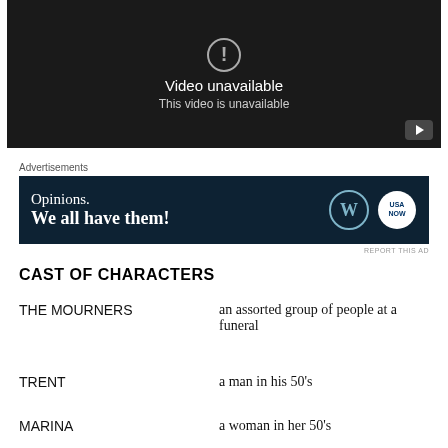[Figure (screenshot): YouTube video unavailable placeholder with dark background, exclamation mark icon, text 'Video unavailable' and 'This video is unavailable', YouTube button in bottom right corner]
Advertisements
[Figure (other): Advertisement banner with dark navy background, text 'Opinions. We all have them!' and WordPress and USA NOW logos on the right]
REPORT THIS AD
CAST OF CHARACTERS
THE MOURNERS    an assorted group of people at a funeral
TRENT    a man in his 50's
MARINA    a woman in her 50's